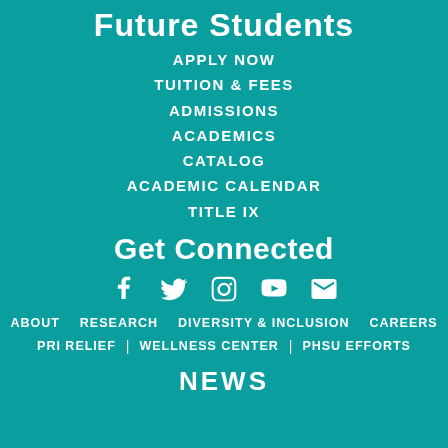Future Students
APPLY NOW
TUITION & FEES
ADMISSIONS
ACADEMICS
CATALOG
ACADEMIC CALENDAR
TITLE IX
Get Connected
[Figure (other): Social media icons: Facebook, Twitter, Instagram, YouTube, Email]
ABOUT   RESEARCH   DIVERSITY & INCLUSION   CAREERS
PRI RELIEF  |  WELLNESS CENTER  |  PHSU EFFORTS
NEWS